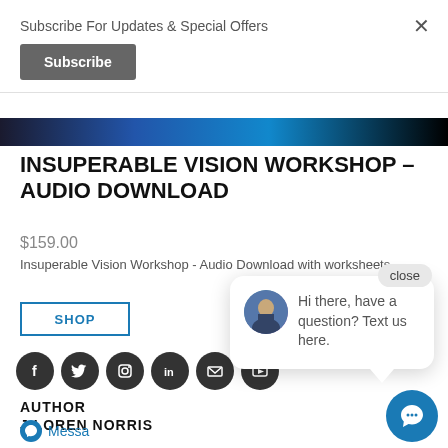Subscribe For Updates & Special Offers
Subscribe
[Figure (screenshot): Blue and black banner image strip at top of product page]
INSUPERABLE VISION WORKSHOP – AUDIO DOWNLOAD
$159.00
Insuperable Vision Workshop - Audio Download with worksheets
SHOP
[Figure (infographic): Social media icons: Facebook, Twitter, Instagram, LinkedIn, Email, YouTube]
AUTHOR
J LOREN NORRIS
close
Hi there, have a question? Text us here.
Messa